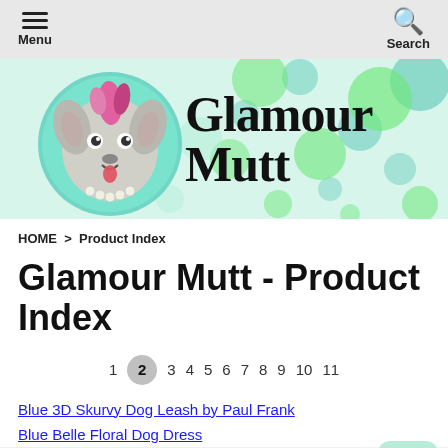Menu | Search
[Figure (illustration): Glamour Mutt website banner with illustrated dog wearing pink mohawk and pearls, surrounded by green and teal polka dots, with text 'Glamour Mutt' in serif font]
HOME > Product Index
Glamour Mutt - Product Index
1  2  3  4  5  6  7  8  9  10  11
Blue 3D Skurvy Dog Leash by Paul Frank
Blue Belle Floral Dog Dress